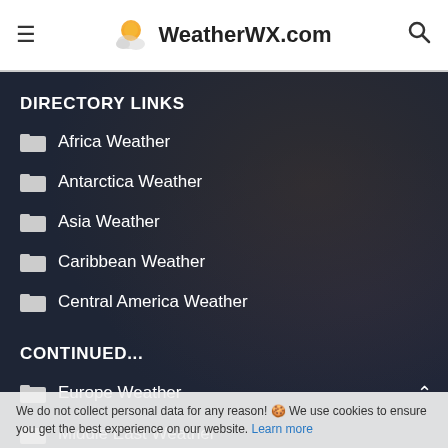≡  WeatherWX.com  🔍
DIRECTORY LINKS
Africa Weather
Antarctica Weather
Asia Weather
Caribbean Weather
Central America Weather
CONTINUED...
Europe Weather
Middle East Weather
North America Weather
We do not collect personal data for any reason! 🍪 We use cookies to ensure you get the best experience on our website. Learn more